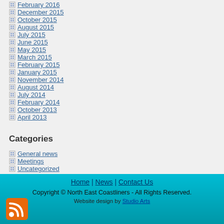February 2016
December 2015
October 2015
August 2015
July 2015
June 2015
May 2015
March 2015
February 2015
January 2015
November 2014
August 2014
July 2014
February 2014
October 2013
April 2013
Categories
General news
Meetings
Uncategorized
Home | News | Contact Us
Copyright © North East Coastliners - All Rights Reserved.
Website design by Studio Arts